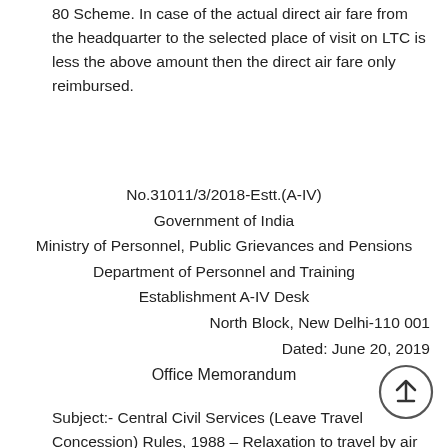80 Scheme. In case of the actual direct air fare from the headquarter to the selected place of visit on LTC is less the above amount then the direct air fare only reimbursed.
No.31011/3/2018-Estt.(A-IV)
Government of India
Ministry of Personnel, Public Grievances and Pensions
Department of Personnel and Training
Establishment A-IV Desk
North Block, New Delhi-110 001
Dated: June 20, 2019
Office Memorandum
Subject:- Central Civil Services (Leave Travel Concession) Rules, 1988 – Relaxation to travel by air to visit North